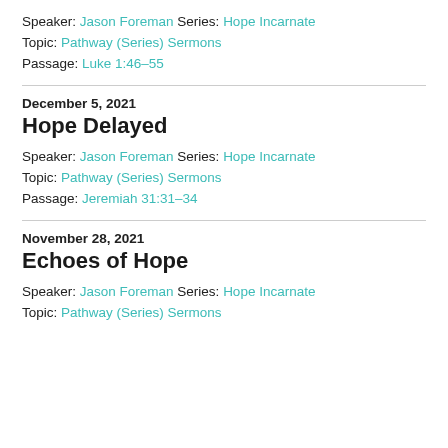Speaker: Jason Foreman Series: Hope Incarnate
Topic: Pathway (Series) Sermons
Passage: Luke 1:46–55
December 5, 2021
Hope Delayed
Speaker: Jason Foreman Series: Hope Incarnate
Topic: Pathway (Series) Sermons
Passage: Jeremiah 31:31–34
November 28, 2021
Echoes of Hope
Speaker: Jason Foreman Series: Hope Incarnate
Topic: Pathway (Series) Sermons